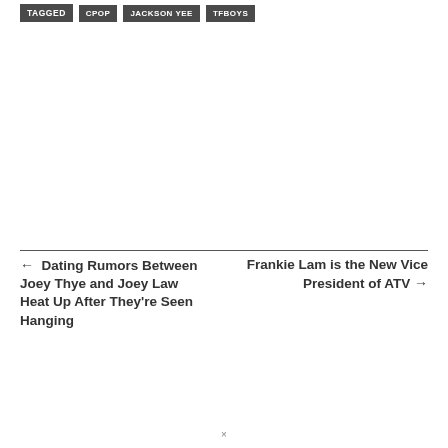TAGGED  CPOP  JACKSON YEE  TFBOYS
← Dating Rumors Between Joey Thye and Joey Law Heat Up After They're Seen Hanging
Frankie Lam is the New Vice President of ATV →